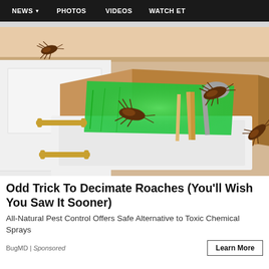NEWS  PHOTOS  VIDEOS  WATCH ET
[Figure (illustration): Illustration of an open kitchen drawer infested with cockroaches, with a green glowing pest control product inside the drawer alongside wooden spoons and other utensils. Roaches visible on the drawer edges and cabinet sides.]
Odd Trick To Decimate Roaches (You'll Wish You Saw It Sooner)
All-Natural Pest Control Offers Safe Alternative to Toxic Chemical Sprays
BugMD | Sponsored
Learn More